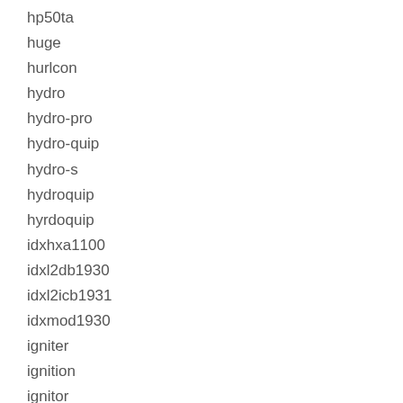hp50ta
huge
hurlcon
hydro
hydro-pro
hydro-quip
hydro-s
hydroquip
hyrdoquip
idxhxa1100
idxl2db1930
idxl2icb1931
idxmod1930
igniter
ignition
ignitor
immersion
impressive
improved
in-line